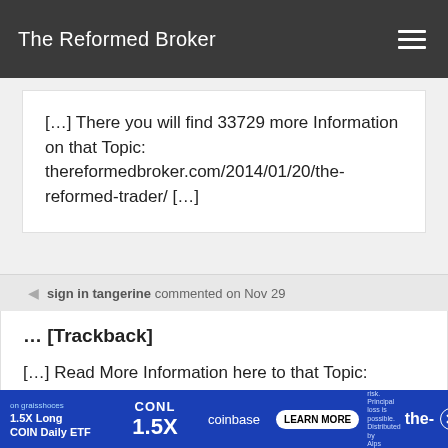The Reformed Broker
[…] There you will find 33729 more Information on that Topic: thereformedbroker.com/2014/01/20/the-reformed-trader/ […]
sign in tangerine commented on Nov 29
… [Trackback]
[…] Read More Information here to that Topic:
[Figure (screenshot): Advertisement banner for CONL 1.5X Long COIN Daily ETF on Coinbase with LEARN MORE button]